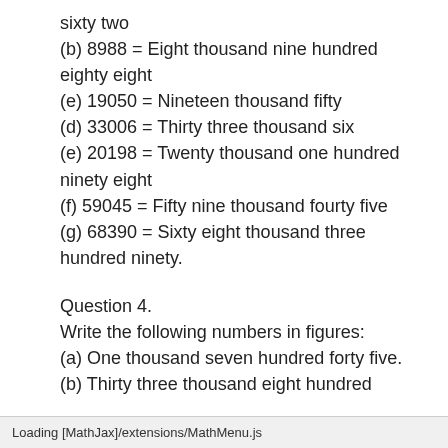sixty two
(b) 8988 = Eight thousand nine hundred eighty eight
(e) 19050 = Nineteen thousand fifty
(d) 33006 = Thirty three thousand six
(e) 20198 = Twenty thousand one hundred ninety eight
(f) 59045 = Fifty nine thousand fourty five
(g) 68390 = Sixty eight thousand three hundred ninety.
Question 4.
Write the following numbers in figures:
(a) One thousand seven hundred forty five.
(b) Thirty three thousand eight hundred
Loading [MathJax]/extensions/MathMenu.js